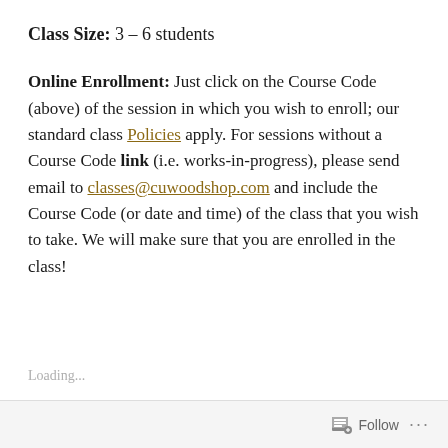Class Size: 3 – 6 students
Online Enrollment: Just click on the Course Code (above) of the session in which you wish to enroll; our standard class Policies apply. For sessions without a Course Code link (i.e. works-in-progress), please send email to classes@cuwoodshop.com and include the Course Code (or date and time) of the class that you wish to take. We will make sure that you are enrolled in the class!
Loading...
Follow ...